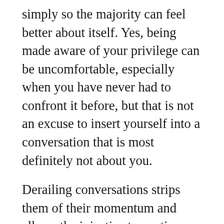simply so the majority can feel better about itself. Yes, being made aware of your privilege can be uncomfortable, especially when you have never had to confront it before, but that is not an excuse to insert yourself into a conversation that is most definitely not about you.
Derailing conversations strips them of their momentum and allows the injustice to continue unchallenged. It leads to more Michael Browns. It leads to more Eric Garners. It leads to more Tamir Rices.
Yes, all lives matter but the world does not need reminding of the importance of white lives. So